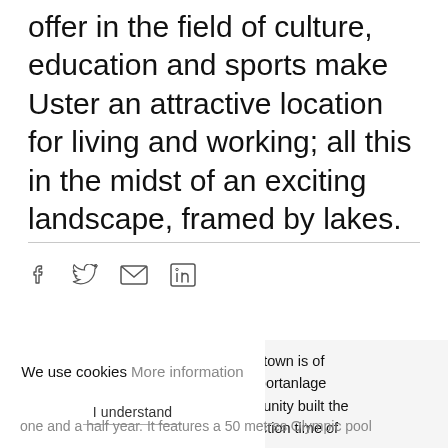offer in the field of culture, education and sports make Uster an attractive location for living and working; all this in the midst of an exciting landscape, framed by lakes.
[Figure (infographic): Social media share icons: Facebook, Twitter, Email, LinkedIn]
he town is of "Sportanlage nmunity built the truction time of
We use cookies More information
I understand
one and a half year. It features a 50 metres Olympic pool